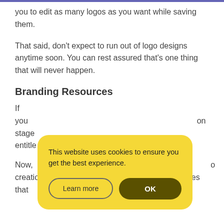Then guess what? It doesn't stop there. Looka allows you to edit as many logos as you want while saving them.
That said, don't expect to run out of logo designs anytime soon. You can rest assured that's one thing that will never happen.
Branding Resources
If you … on stage … entitle…
Now, … to creation… branding? Well, Looka seemingly takes that …
[Figure (screenshot): Cookie consent dialog box with yellow background. Text reads: 'This website uses cookies to ensure you get the best experience.' Two buttons: 'Learn more' (outlined) and 'OK' (dark yellow/olive filled).]